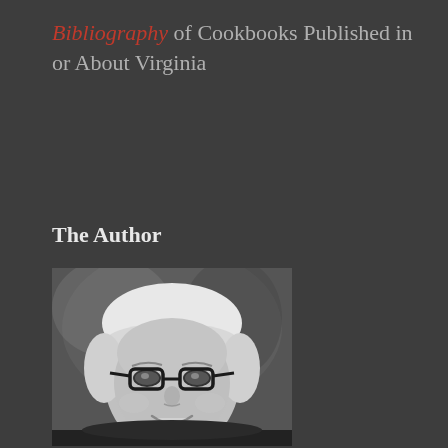Bibliography of Cookbooks Published in or About Virginia
The Author
[Figure (photo): Black and white portrait photo of a woman with short white/blonde hair and dark-rimmed glasses, smiling, wearing a dark top.]